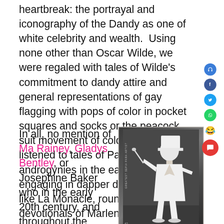heartbreak: the portrayal and iconography of the Dandy as one of white celebrity and wealth.  Using none other than Oscar Wilde, we were regaled with tales of Wilde's commitment to dandy attire and general representations of gay flagging with pops of color in pocket squares and socks or the peacock suit movement of colored suits. We listened to tales of Parisian androgynies in the early 20th century engaging in dapper dykery at bars like La Monacle, rounding out with devotionals of Marlene Dietrich in her Dior suit.
In all, no mention of Ma Rainey, Gladys Bentley, or Josephine Baker who in the early 20th century, and throughout the Harlem Renaissance, were singing jazz, blues, and leading bands in men's tailcoats, top hats, ties, and cufflinks. There
[Figure (photo): Black and white photograph of a performer in a white suit and white top hat, holding a cane, standing in a performance pose. Text on left side reads 'GREATEST SEPIA PARA ARTIST'.]